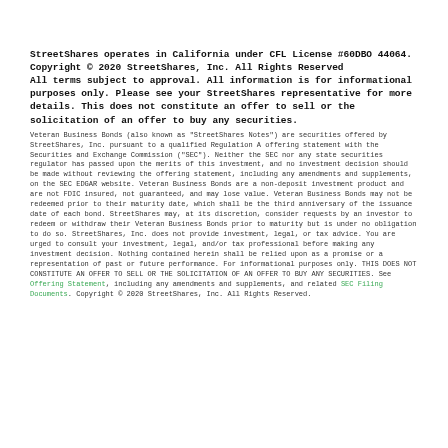StreetShares operates in California under CFL License #60DBO 44064.
Copyright © 2020 StreetShares, Inc. All Rights Reserved
All terms subject to approval. All information is for informational purposes only. Please see your StreetShares representative for more details. This does not constitute an offer to sell or the solicitation of an offer to buy any securities.
Veteran Business Bonds (also known as "StreetShares Notes") are securities offered by StreetShares, Inc. pursuant to a qualified Regulation A offering statement with the Securities and Exchange Commission ("SEC"). Neither the SEC nor any state securities regulator has passed upon the merits of this investment, and no investment decision should be made without reviewing the offering statement, including any amendments and supplements, on the SEC EDGAR website. Veteran Business Bonds are a non-deposit investment product and are not FDIC insured, not guaranteed, and may lose value. Veteran Business Bonds may not be redeemed prior to their maturity date, which shall be the third anniversary of the issuance date of each bond. StreetShares may, at its discretion, consider requests by an investor to redeem or withdraw their Veteran Business Bonds prior to maturity but is under no obligation to do so. StreetShares, Inc. does not provide investment, legal, or tax advice. You are urged to consult your investment, legal, and/or tax professional before making any investment decision. Nothing contained herein shall be relied upon as a promise or a representation of past or future performance. For informational purposes only. THIS DOES NOT CONSTITUTE AN OFFER TO SELL OR THE SOLICITATION OF AN OFFER TO BUY ANY SECURITIES. See Offering Statement, including any amendments and supplements, and related SEC Filing Documents. Copyright © 2020 StreetShares, Inc. All Rights Reserved.